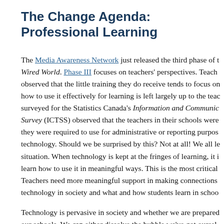The Change Agenda: Professional Learning
The Media Awareness Network just released the third phase of t... Wired World. Phase III focuses on teachers' perspectives. Teach... observed that the little training they do receive tends to focus on how to use it effectively for learning is left largely up to the tea... surveyed for the Statistics Canada's Information and Communic... Survey (ICTSS) observed that the teachers in their schools were they were required to use for administrative or reporting purpos... technology. Should we be surprised by this? Not at all! We all le... situation. When technology is kept at the fringes of learning, it i... learn how to use it in meaningful ways. This is the most critical Teachers need more meaningful support in making connections technology in society and what and how students learn in schoo...
Technology is pervasive in society and whether we are prepared our schools. We can either dissolve the bubble we've got oursel... professional learning, or have to clean up the mess after the bub... obvious to me.